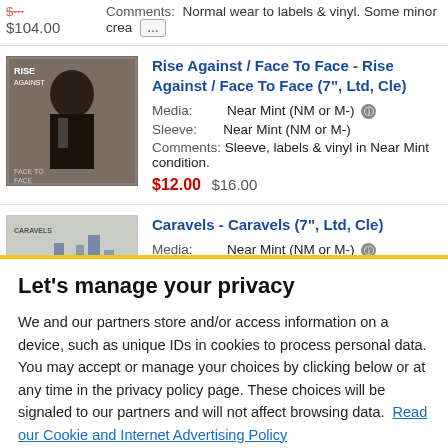Comments: Normal wear to labels & vinyl. Some minor crea ...
$104.00
Rise Against / Face To Face - Rise Against / Face To Face (7", Ltd, Cle)
Media: Near Mint (NM or M-)
Sleeve: Near Mint (NM or M-)
Comments: Sleeve, labels & vinyl in Near Mint condition.
$12.00 $16.00
Caravels - Caravels (7", Ltd, Cle)
Media: Near Mint (NM or M-)
Let's manage your privacy
We and our partners store and/or access information on a device, such as unique IDs in cookies to process personal data. You may accept or manage your choices by clicking below or at any time in the privacy policy page. These choices will be signaled to our partners and will not affect browsing data. Read our Cookie and Internet Advertising Policy